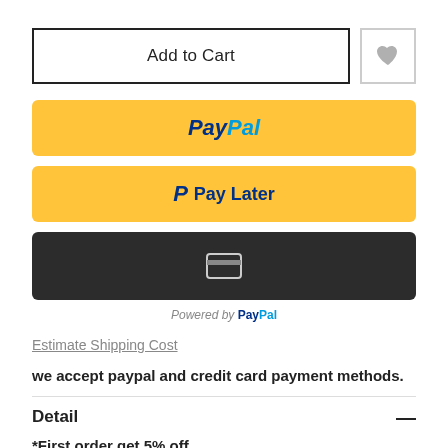[Figure (screenshot): Add to Cart button (outlined, white background) and wishlist heart icon button]
[Figure (screenshot): PayPal yellow payment button with PayPal logo]
[Figure (screenshot): PayPal Pay Later yellow button with PayPal P logo]
[Figure (screenshot): Dark/black debit card payment button with credit card icon]
Powered by PayPal
Estimate Shipping Cost
we accept paypal and credit card payment methods.
Detail
*First order get 5% off